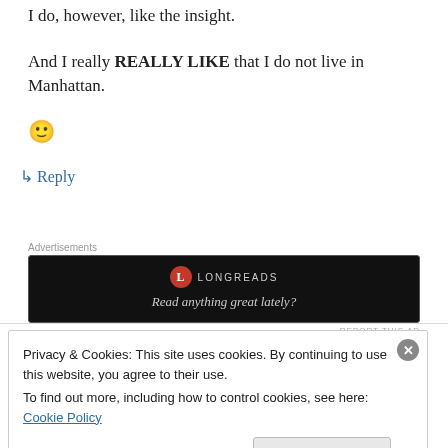I do, however, like the insight.
And I really REALLY LIKE that I do not live in Manhattan.
🙂
↳ Reply
Advertisements
[Figure (screenshot): Longreads advertisement banner on black background reading 'Read anything great lately?']
REPORT THIS AD
Privacy & Cookies: This site uses cookies. By continuing to use this website, you agree to their use.
To find out more, including how to control cookies, see here: Cookie Policy
Close and accept